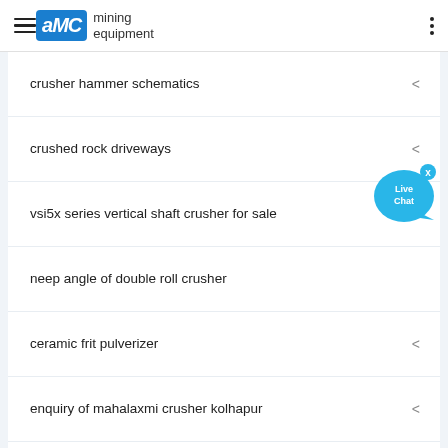AMC mining equipment
crusher hammer schematics
crushed rock driveways
vsi5x series vertical shaft crusher for sale
neep angle of double roll crusher
ceramic frit pulverizer
enquiry of mahalaxmi crusher kolhapur
distributors of spare parts of stone crusher machine india
broken crusher crusher
por le concrete crusher used for sale
stone crusher screen for sale sweden